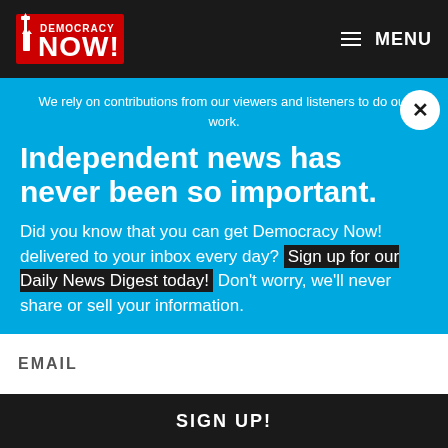Democracy Now! — MENU
We rely on contributions from our viewers and listeners to do our work.
Independent news has never been so important.
Did you know that you can get Democracy Now! delivered to your inbox every day? Sign up for our Daily News Digest today! Don't worry, we'll never share or sell your information.
EMAIL
SIGN UP!